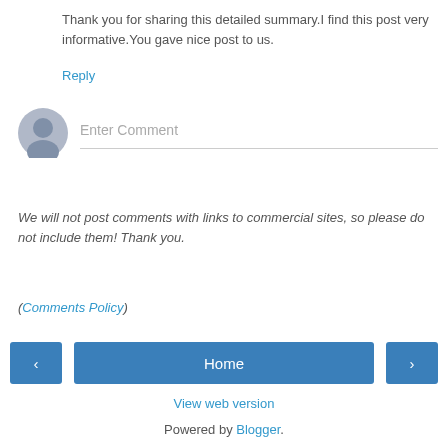Thank you for sharing this detailed summary.I find this post very informative.You gave nice post to us.
Reply
[Figure (illustration): Round avatar/profile placeholder icon with gray silhouette of a person]
Enter Comment
We will not post comments with links to commercial sites, so please do not include them! Thank you.
(Comments Policy)
‹  Home  ›
View web version
Powered by Blogger.